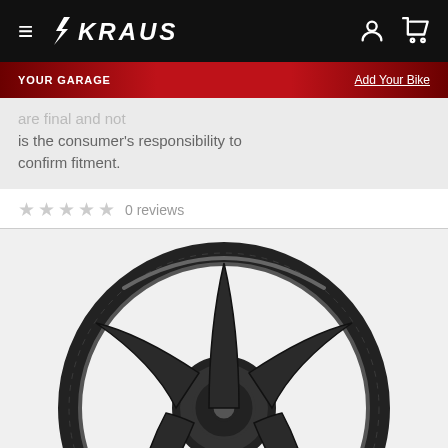KRAUS - navigation bar with hamburger menu, logo, account and cart icons
YOUR GARAGE
Add Your Bike
are final and not
is the consumer's responsibility to confirm fitment.
0 reviews
[Figure (photo): Carbon fiber 5-spoke motorcycle wheel, partial view showing the top portion and spokes, on a light grey background.]